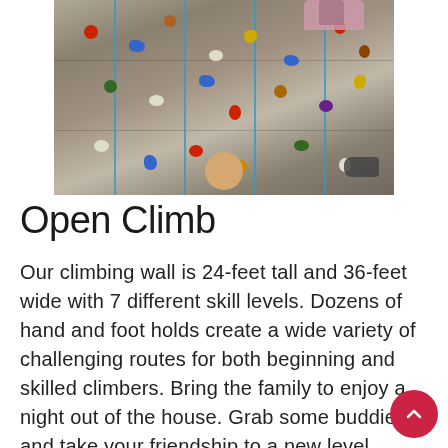[Figure (photo): Photo of an indoor climbing wall viewed from above, showing a person climbing with colorful holds and blue ropes visible on a grey textured wall surface.]
Open Climb
Our climbing wall is 24-feet tall and 36-feet wide with 7 different skill levels. Dozens of hand and foot holds create a wide variety of challenging routes for both beginning and skilled climbers. Bring the family to enjoy a night out of the house. Grab some buddies and take your friendship to a new level. Whatever your age, athletic ability or fitness level, the wall is fun for everyone! On Mondays